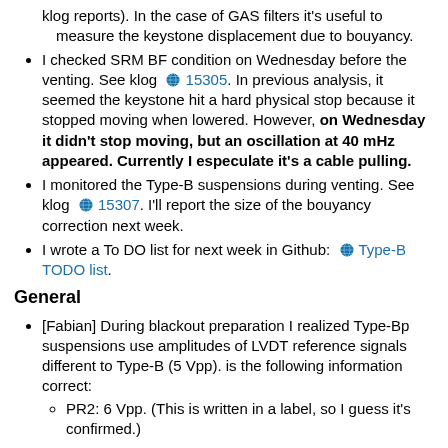klog reports). In the case of GAS filters it's useful to measure the keystone displacement due to bouyancy.
I checked SRM BF condition on Wednesday before the venting. See klog 15305. In previous analysis, it seemed the keystone hit a hard physical stop because it stopped moving when lowered. However, on Wednesday it didn't stop moving, but an oscillation at 40 mHz appeared. Currently I especulate it's a cable pulling.
I monitored the Type-B suspensions during venting. See klog 15307. I'll report the size of the bouyancy correction next week.
I wrote a To DO list for next week in Github: Type-B TODO list.
General
[Fabian] During blackout preparation I realized Type-Bp suspensions use amplitudes of LVDT reference signals different to Type-B (5 Vpp). is the following information correct:
PR2: 6 Vpp. (This is written in a label, so I guess it's confirmed.)